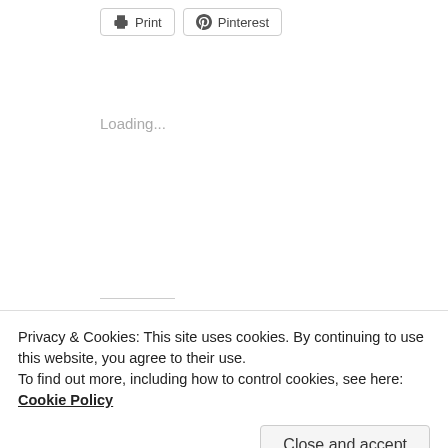[Figure (other): Print button with printer icon]
[Figure (other): Pinterest button with Pinterest icon]
Loading...
Related
Ultimate Rainbow Cake
June 10, 2013
In "Desserts"
Fabulously Simple Sponge Cake
October 30, 2013
In "Desserts"
Israeli Chocolate Cake
April 4, 2014
Privacy & Cookies: This site uses cookies. By continuing to use this website, you agree to their use.
To find out more, including how to control cookies, see here: Cookie Policy
Close and accept